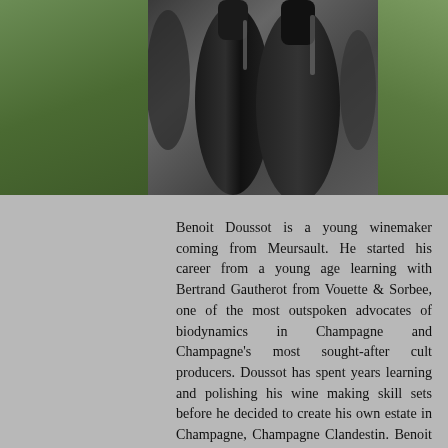[Figure (photo): Black and white photograph of wine bottles, with green foliage visible on the left and right edges. The center shows dark wine bottles in close-up.]
Benoit Doussot is a young winemaker coming from Meursault. He started his career from a young age learning with Bertrand Gautherot from Vouette & Sorbee, one of the most outspoken advocates of biodynamics in Champagne and Champagne's most sought-after cult producers. Doussot has spent years learning and polishing his wine making skill sets before he decided to create his own estate in Champagne, Champagne Clandestin. Benoit is firmly convinced of the role that biodynamics plays in champagne making.